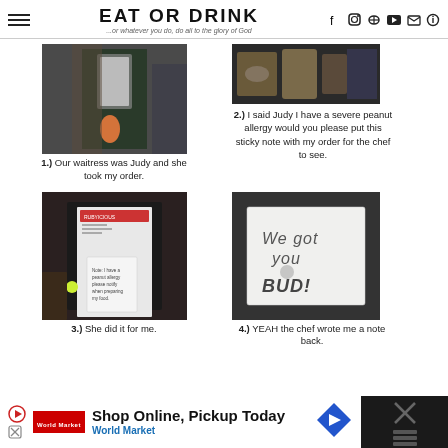EAT OR DRINK ...or whatever you do, do all to the glory of God
[Figure (photo): Photo of waitress taking order with receipt tape]
1.)  Our waitress was Judy and she took my order.
[Figure (photo): Photo of restaurant table with food and drinks]
2.)  I said Judy I have a severe peanut allergy would you please put this sticky note with my order for the chef to see.
[Figure (photo): Photo of receipt with sticky note attached]
3.)  She did it for me.
[Figure (photo): Photo of handwritten note saying 'We got you BUD!']
4.)  YEAH the chef wrote me a note back.
[Figure (screenshot): World Market advertisement: Shop Online, Pickup Today]